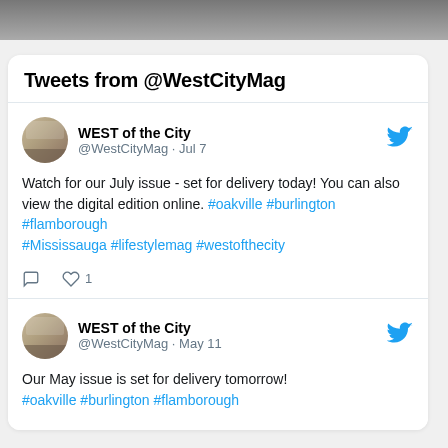[Figure (photo): Top portion of a photo, partially cropped at the top of the page]
Tweets from @WestCityMag
WEST of the City @WestCityMag · Jul 7
Watch for our July issue - set for delivery today! You can also view the digital edition online. #oakville #burlington #flamborough #Mississauga #lifestylemag #westofthecity
WEST of the City @WestCityMag · May 11
Our May issue is set for delivery tomorrow! #oakville #burlington #flamborough